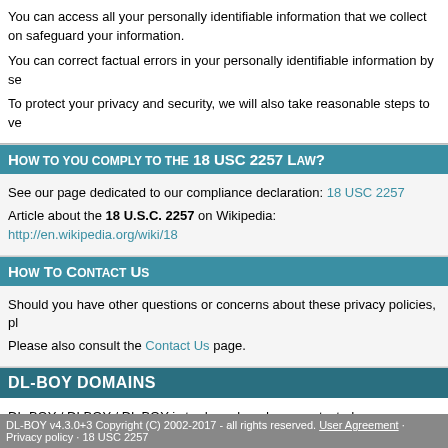You can access all your personally identifiable information that we collect on safeguard your information.
You can correct factual errors in your personally identifiable information by se
To protect your privacy and security, we will also take reasonable steps to ve
How to you comply to the 18 USC 2257 Law?
See our page dedicated to our compliance declaration: 18 USC 2257
Article about the 18 U.S.C. 2257 on Wikipedia: http://en.wikipedia.org/wiki/18
How To Contact Us
Should you have other questions or concerns about these privacy policies, pl
Please also consult the Contact Us page.
DL-BOY DOMAINS
DL-BOY / DLBOY / DL BOY is trademark and copyprotected name. DLBOY dl-boy.de, dl-boy.se, dl-boy.eu, dl-boy.dk and dl-boy.co.uk
DL-BOY v4.3.0+3 Copyright (C) 2002-2017 - all rights reserved. User Agreement · Privacy policy · 18 USC 2257